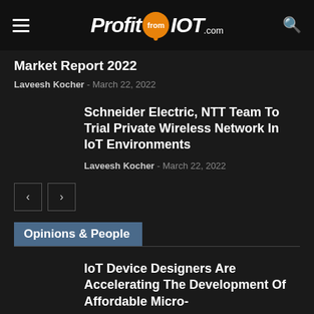ProfitfromIOT.com
Market Report 2022
Laveesh Kocher - March 22, 2022
Schneider Electric, NTT Team To Trial Private Wireless Network In IoT Environments
Laveesh Kocher - March 22, 2022
Opinions & People
IoT Device Designers Are Accelerating The Development Of Affordable Micro-
[Figure (photo): Advertisement banner with yellow background, red BEWARE! text, red heart image, and Consumer Express magazine cover]